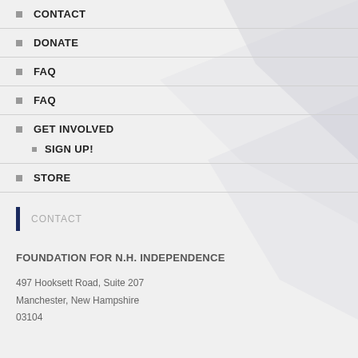CONTACT
DONATE
FAQ
FAQ
GET INVOLVED
SIGN UP!
STORE
CONTACT
FOUNDATION FOR N.H. INDEPENDENCE
497 Hooksett Road, Suite 207
Manchester, New Hampshire
03104